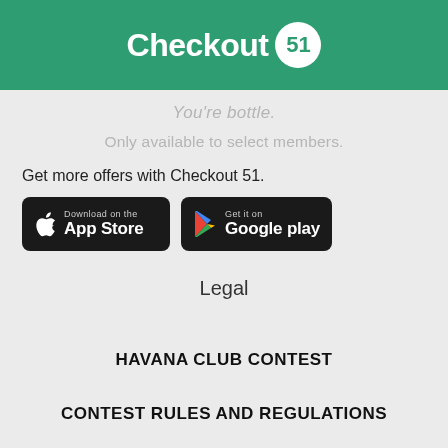[Figure (logo): Checkout 51 logo — white bold text 'Checkout' followed by '51' in a white circle on a green background]
You're bottle.
Only available to select members.
Get more offers with Checkout 51.
[Figure (other): App store download buttons: 'Download on the App Store' and 'Get it on Google play']
Legal
HAVANA CLUB CONTEST
CONTEST RULES AND REGULATIONS